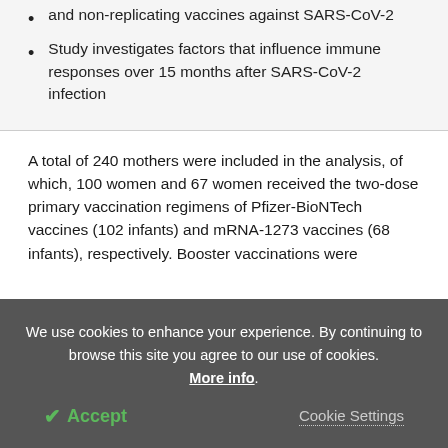and non-replicating vaccines against SARS-CoV-2
Study investigates factors that influence immune responses over 15 months after SARS-CoV-2 infection
A total of 240 mothers were included in the analysis, of which, 100 women and 67 women received the two-dose primary vaccination regimens of Pfizer-BioNTech vaccines (102 infants) and mRNA-1273 vaccines (68 infants), respectively. Booster vaccinations were
We use cookies to enhance your experience. By continuing to browse this site you agree to our use of cookies. More info. Accept Cookie Settings